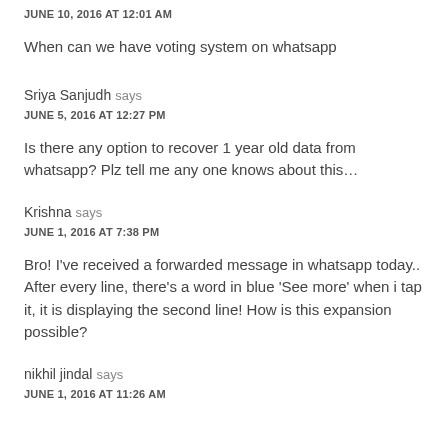JUNE 10, 2016 AT 12:01 AM
When can we have voting system on whatsapp
Sriya Sanjudh says
JUNE 5, 2016 AT 12:27 PM
Is there any option to recover 1 year old data from whatsapp? Plz tell me any one knows about this…
Krishna says
JUNE 1, 2016 AT 7:38 PM
Bro! I've received a forwarded message in whatsapp today.. After every line, there's a word in blue 'See more' when i tap it, it is displaying the second line! How is this expansion possible?
nikhil jindal says
JUNE 1, 2016 AT 11:26 AM